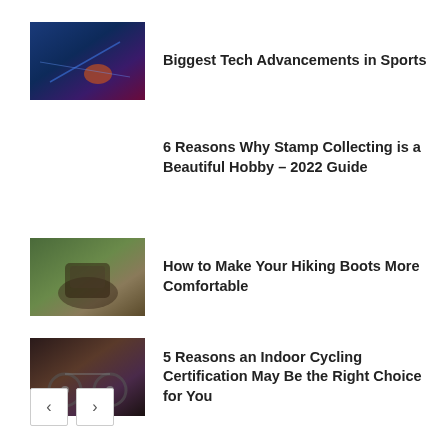[Figure (photo): Sports technology image showing a basketball player with digital effects]
Biggest Tech Advancements in Sports
6 Reasons Why Stamp Collecting is a Beautiful Hobby – 2022 Guide
[Figure (photo): Person wearing hiking boots on a log outdoors]
How to Make Your Hiking Boots More Comfortable
[Figure (photo): People on indoor cycling bikes]
5 Reasons an Indoor Cycling Certification May Be the Right Choice for You